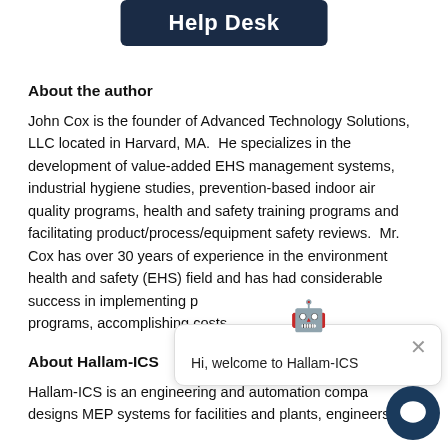[Figure (other): Help Desk button — dark navy rounded rectangle with white bold text 'Help Desk']
About the author
John Cox is the founder of Advanced Technology Solutions, LLC located in Harvard, MA. He specializes in the development of value-added EHS management systems, industrial hygiene studies, prevention-based indoor air quality programs, health and safety training programs and facilitating product/process/equipment safety reviews. Mr. Cox has over 30 years of experience in the environment health and safety (EHS) field and has had considerable success in implementing programs, accomplishing costs.
About Hallam-ICS
Hallam-ICS is an engineering and automation company that designs MEP systems for facilities and plants, engineers
[Figure (other): Chat popup with robot emoji, close button, and text 'Hi, welcome to Hallam-ICS'; chat bubble button in bottom right corner]